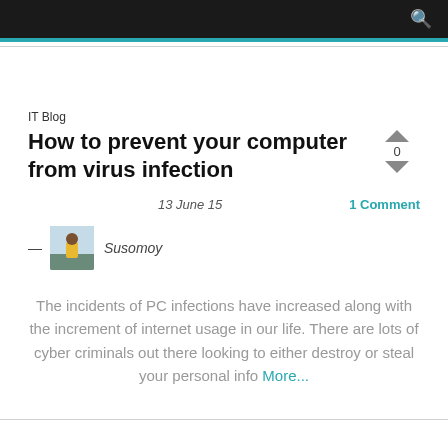IT Blog
How to prevent your computer from virus infection
13 June 15
1 Comment
[Figure (photo): Avatar photo of Susomoy — person standing outdoors]
— Susomoy
The incidents of PC infections have increased along with the increment of internet usage in our life. There are lots of cyber criminals out there looking to either destroy or steal your personal info More...